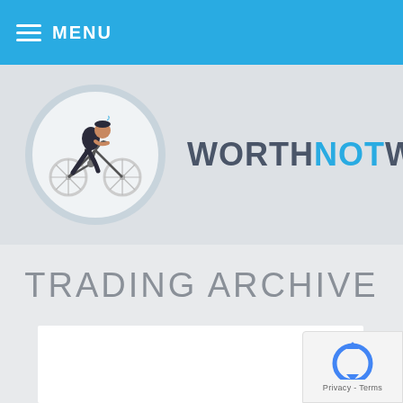MENU
[Figure (logo): WorthNotWeight website logo: person riding bicycle inside a circle, next to text WORTHNOTWEIGHT]
WORTHNOTWEIGHT
TRADING ARCHIVE
[Figure (other): reCAPTCHA badge with Privacy and Terms links]